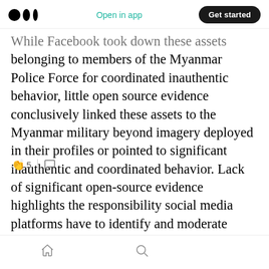Medium app header — logo, Open in app, Get started
While Facebook took down these assets belonging to members of the Myanmar Police Force for coordinated inauthentic behavior, little open source evidence conclusively linked these assets to the Myanmar military beyond imagery deployed in their profiles or pointed to significant inauthentic and coordinated behavior. Lack of significant open-source evidence highlights the responsibility social media platforms have to identify and moderate coordinated inauthentic activity, particularly when that activity incites violence along se… 5 [clap icon] [comment icon] a country with ongoing conflict and a history of ethnic
Home | Search | Profile (bottom navigation)